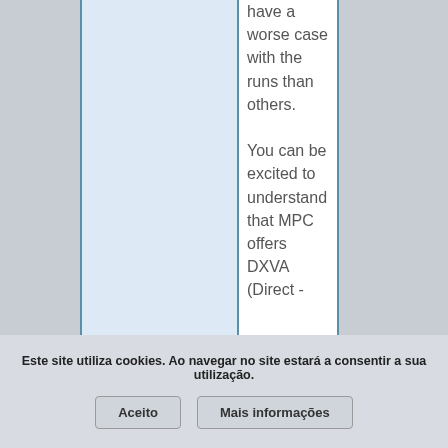have a worse case with the runs than others.
You can be excited to understand that MPC offers DXVA (Direct -
Este site utiliza cookies. Ao navegar no site estará a consentir a sua utilização.